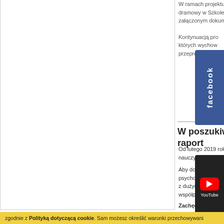W ramach projektu „T... dramowy w Szkole Po... załączonym dokumen...
Kontynuacją pro... których wychow... przeprowadzony...
[Figure (other): Facebook social media button/widget, blue vertical banner]
[Figure (other): YouTube social media button/widget, dark vertical banner with YouTube logo]
W poszukiwan... raport
Od lutego 2019 rok... nauczycielek w jednej w...
Aby dowiedzieć się jaki k... psychologiczno-pedago... z dużym samorządem – ... współpracy przy projek...
Zachęcamy do zapoznan...
[Figure (other): Download button (cyan/blue)]
zgodnie z Polityką dotyczącą cookie. Sam możesz określić warunki przechowywani...